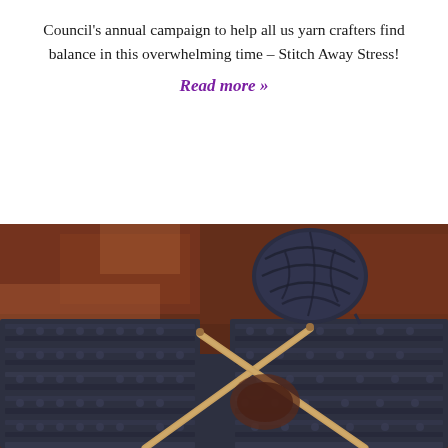Council's annual campaign to help all us yarn crafters find balance in this overwhelming time – Stitch Away Stress!
Read more »
[Figure (photo): Overhead photo of dark navy blue knitting project in progress on a wooden table, with a ball of dark yarn and two wooden knitting needles inserted into the work.]